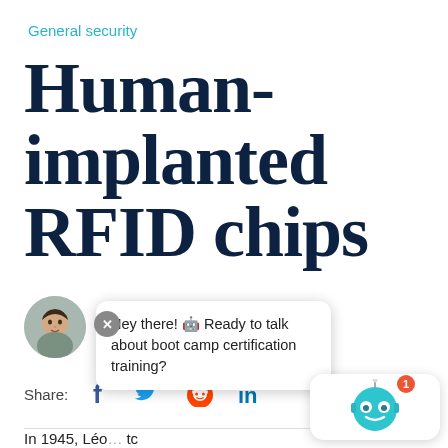General security
Human-implanted RFID chips
April 17, 2014 by Daniel Dimov
Share:
In 1945, Léo…tc
Hey there! 🤖 Ready to talk about boot camp certification training?